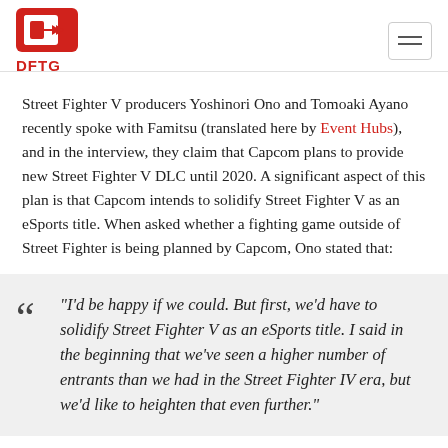DFTG
Street Fighter V producers Yoshinori Ono and Tomoaki Ayano recently spoke with Famitsu (translated here by Event Hubs), and in the interview, they claim that Capcom plans to provide new Street Fighter V DLC until 2020. A significant aspect of this plan is that Capcom intends to solidify Street Fighter V as an eSports title. When asked whether a fighting game outside of Street Fighter is being planned by Capcom, Ono stated that:
“I’d be happy if we could. But first, we’d have to solidify Street Fighter V as an eSports title. I said in the beginning that we’ve seen a higher number of entrants than we had in the Street Fighter IV era, but we’d like to heighten that even further.”